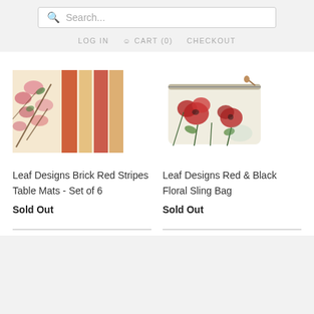Search... | LOG IN | CART (0) | CHECKOUT
[Figure (photo): Leaf Designs Brick Red Stripes Table Mats product image showing cherry blossoms with red and gold vertical stripes]
[Figure (photo): Leaf Designs Red & Black Floral Sling Bag product image showing a small pouch bag with red poppy flowers on white background]
Leaf Designs Brick Red Stripes Table Mats - Set of 6
Sold Out
Leaf Designs Red & Black Floral Sling Bag
Sold Out